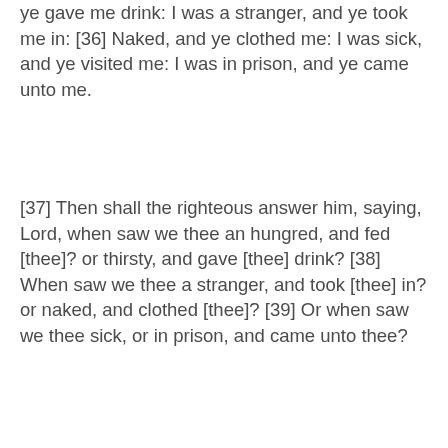ye gave me drink: I was a stranger, and ye took me in: [36] Naked, and ye clothed me: I was sick, and ye visited me: I was in prison, and ye came unto me.
[37] Then shall the righteous answer him, saying, Lord, when saw we thee an hungred, and fed [thee]? or thirsty, and gave [thee] drink? [38] When saw we thee a stranger, and took [thee] in? or naked, and clothed [thee]? [39] Or when saw we thee sick, or in prison, and came unto thee?
[40] And the King shall answer and say unto them, Verily I say unto you, Inasmuch as ye have done [it] unto one of the least of these my brethren, ye have done [it] unto me.
[41] Then shall he say also unto them on the left hand, Depart from me, ye cursed, into everlasting fire, prepared for the devil and his angels: [42] For I was an hungred, and ye gave me no meat: I was thirsty, and ye gave me no drink: [43] I was a